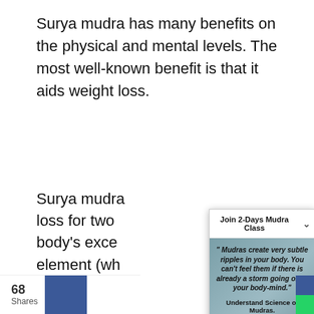Surya mudra has many benefits on the physical and mental levels. The most well-known benefit is that it aids weight loss.
Surya mudra ... loss for two ... body's exce... element (wh... when we tou... the thumb. T... the fiery ene... metabolism... at rest or du...
[Figure (infographic): Popup overlay for 'Join 2-Days Mudra Class' with a quote about mudras, a 'Register for Class Now!' button, and early bird discount note, overlaid on a background image of hands in mudra position.]
68 Shares